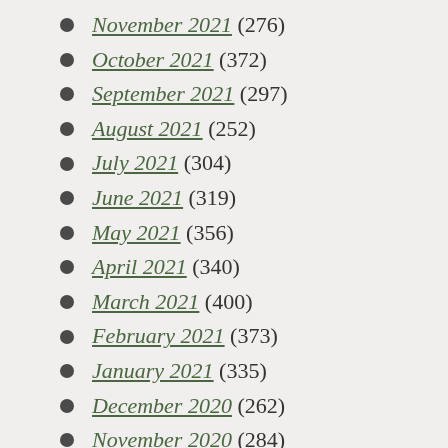November 2021 (276)
October 2021 (372)
September 2021 (297)
August 2021 (252)
July 2021 (304)
June 2021 (319)
May 2021 (356)
April 2021 (340)
March 2021 (400)
February 2021 (373)
January 2021 (335)
December 2020 (262)
November 2020 (284)
October 2020 (361)